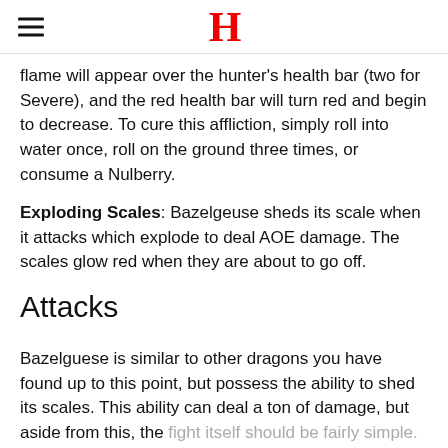H
flame will appear over the hunter’s health bar (two for Severe), and the red health bar will turn red and begin to decrease. To cure this affliction, simply roll into water once, roll on the ground three times, or consume a Nulberry.
Exploding Scales: Bazelgeuse sheds its scale when it attacks which explode to deal AOE damage. The scales glow red when they are about to go off.
Attacks
Bazelguese is similar to other dragons you have found up to this point, but possess the ability to shed its scales. This ability can deal a ton of damage, but aside from this, the fight itself should be fairly simple. Let’s look at Bazelguese’s attacks: